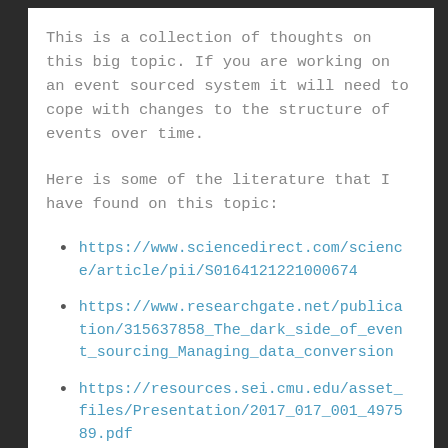This is a collection of thoughts on this big topic. If you are working on an event sourced system it will need to cope with changes to the structure of events over time.
Here is some of the literature that I have found on this topic:
https://www.sciencedirect.com/science/article/pii/S0164121221000674
https://www.researchgate.net/publication/315637858_The_dark_side_of_event_sourcing_Managing_data_conversion
https://resources.sei.cmu.edu/asset_files/Presentation/2017_017_001_497589.pdf
There are other possible sources of